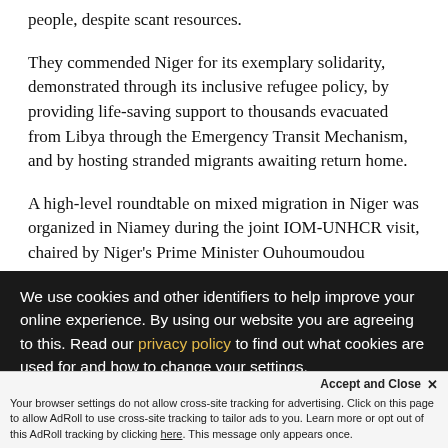people, despite scant resources.
They commended Niger for its exemplary solidarity, demonstrated through its inclusive refugee policy, by providing life-saving support to thousands evacuated from Libya through the Emergency Transit Mechanism, and by hosting stranded migrants awaiting return home.
A high-level roundtable on mixed migration in Niger was organized in Niamey during the joint IOM-UNHCR visit, chaired by Niger's Prime Minister Ouhoumoudou Mahamadou, with Government ministers, the UN Resident Coordinator, senior diplomats, and UN agencies.
We use cookies and other identifiers to help improve your online experience. By using our website you are agreeing to this. Read our privacy policy to find out what cookies are used for and how to change your settings.
Your browser settings do not allow cross-site tracking for advertising. Click on this page to allow AdRoll to use cross-site tracking to tailor ads to you. Learn more or opt out of this AdRoll tracking by clicking here. This message only appears once.